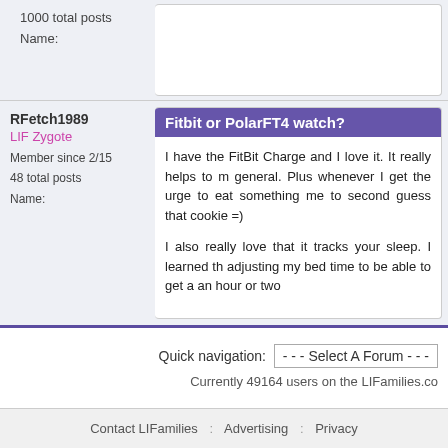1000 total posts
Name:
RFetch1989
LIF Zygote
Member since 2/15
48 total posts
Name:
Fitbit or PolarFT4 watch?
I have the FitBit Charge and I love it. It really helps to m... general. Plus whenever I get the urge to eat something me to second guess that cookie =)
I also really love that it tracks your sleep. I learned th... adjusting my bed time to be able to get a an hour or two
Quick navigation:  - - - Select A Forum - - -
Currently 49164 users on the LIFamilies.co
Contact LIFamilies  :  Advertising  :  Privacy